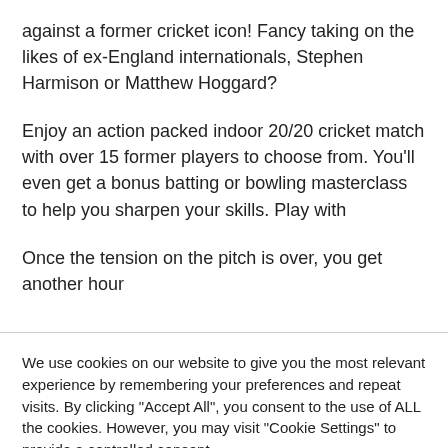against a former cricket icon! Fancy taking on the likes of ex-England internationals, Stephen Harmison or Matthew Hoggard?
Enjoy an action packed indoor 20/20 cricket match with over 15 former players to choose from. You'll even get a bonus batting or bowling masterclass to help you sharpen your skills. Play with
Once the tension on the pitch is over, you get another hour
We use cookies on our website to give you the most relevant experience by remembering your preferences and repeat visits. By clicking "Accept All", you consent to the use of ALL the cookies. However, you may visit "Cookie Settings" to provide a controlled consent.
Cookie Settings
Accept All